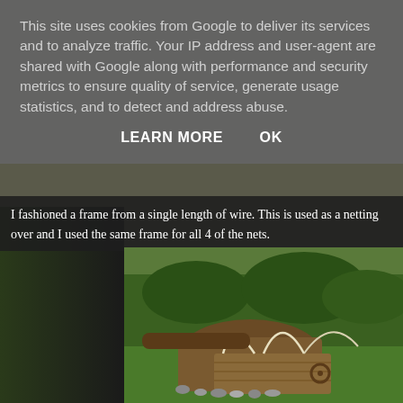This site uses cookies from Google to deliver its services and to analyze traffic. Your IP address and user-agent are shared with Google along with performance and security metrics to ensure quality of service, generate usage statistics, and to detect and address abuse.
LEARN MORE    OK
I fashioned a frame from a single length of wire. This is used as a netting over and I used the same frame for all 4 of the nets.
[Figure (photo): Outdoor scene showing a garden/yard area with green grass, dirt patches, logs, a wooden platform or cart with wire frames bent into arched shapes, appearing to be a trap or net construction setup.]